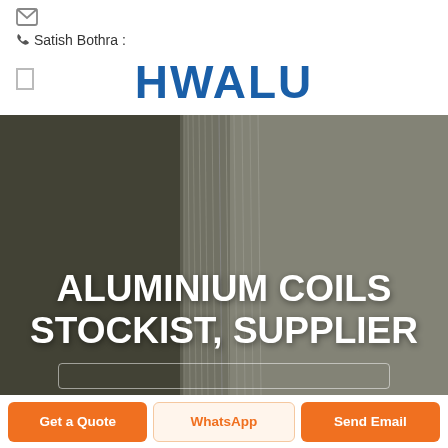[Figure (logo): HWALU logo in blue bold text]
Satish Bothra :
[Figure (photo): Stack of aluminium sheets/coils photographed from the side, showing edges of multiple sheets stacked together]
ALUMINIUM COILS STOCKIST, SUPPLIER
Get a Quote
WhatsApp
Send Email